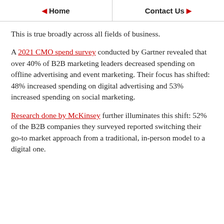Home   Contact Us
This is true broadly across all fields of business.
A 2021 CMO spend survey conducted by Gartner revealed that over 40% of B2B marketing leaders decreased spending on offline advertising and event marketing. Their focus has shifted: 48% increased spending on digital advertising and 53% increased spending on social marketing.
Research done by McKinsey further illuminates this shift: 52% of the B2B companies they surveyed reported switching their go-to market approach from a traditional, in-person model to a digital one.